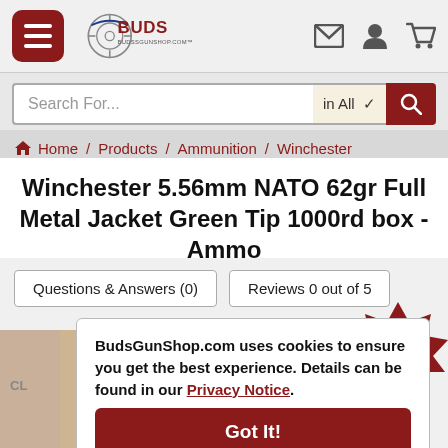[Figure (logo): Buds Gun Shop logo with hamburger menu icon and navigation icons]
Search For...
in All
Home / Products / Ammunition / Winchester
Winchester 5.56mm NATO 62gr Full Metal Jacket Green Tip 1000rd box - Ammo
Questions & Answers (0)
Reviews 0 out of 5
[Figure (infographic): $0.57 price badge starburst]
BudsGunShop.com uses cookies to ensure you get the best experience. Details can be found in our Privacy Notice.
Got It!